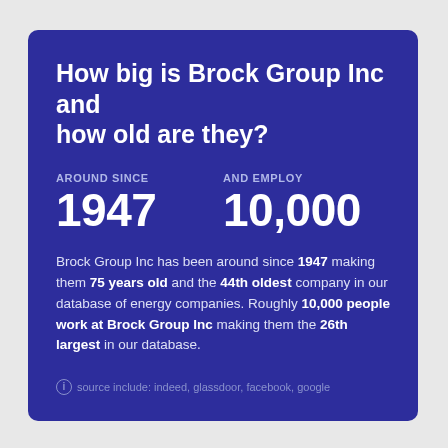How big is Brock Group Inc and how old are they?
AROUND SINCE
1947
AND EMPLOY
10,000
Brock Group Inc has been around since 1947 making them 75 years old and the 44th oldest company in our database of energy companies. Roughly 10,000 people work at Brock Group Inc making them the 26th largest in our database.
source include: indeed, glassdoor, facebook, google